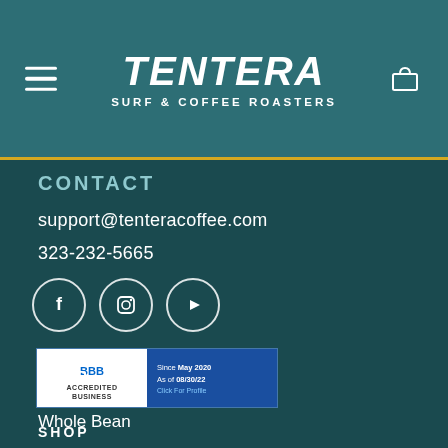TENTERA SURF & COFFEE ROASTERS
CONTACT
support@tenteracoffee.com
323-232-5665
[Figure (illustration): Social media icons: Facebook, Instagram, YouTube in white circles on dark teal background]
[Figure (logo): BBB Accredited Business badge. Since May 2020, As of 08/30/22, Click For Profile]
SHOP
Whole Bean